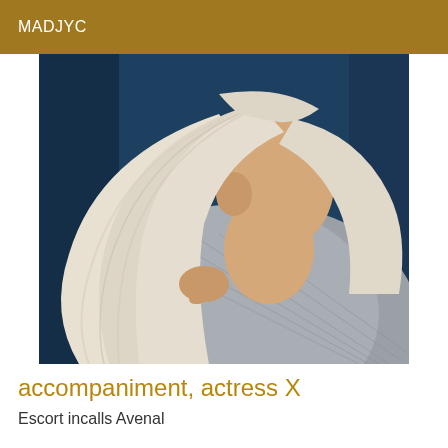MADJYC
[Figure (photo): Person with long platinum blonde hair flipped to the side, wearing a grey knit sweater, photographed from shoulders up against a dark blue background.]
accompaniment, actress X
Escort incalls Avenal